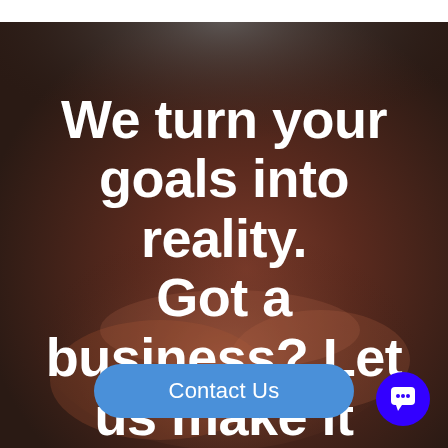[Figure (photo): Dark blurred background photo showing hands, with a dark brownish-red tint overlay, serving as background for marketing text.]
We turn your goals into reality. Got a business? Let us make it better
Contact Us